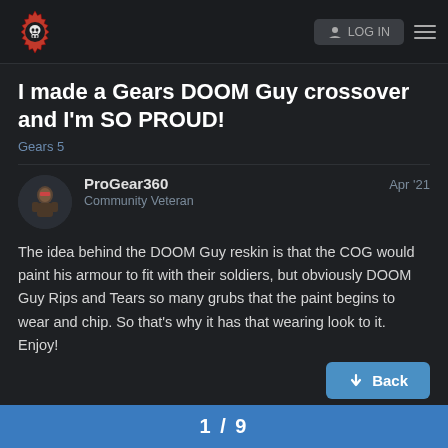Gears of War Community Forum – header bar with logo and login button
I made a Gears DOOM Guy crossover and I'm SO PROUD!
Gears 5
ProGear360 – Community Veteran – Apr '21
The idea behind the DOOM Guy reskin is that the COG would paint his armour to fit with their soldiers, but obviously DOOM Guy Rips and Tears so many grubs that the paint begins to wear and chip. So that's why it has that wearing look to it.
Enjoy!
↓ Back
1 / 9